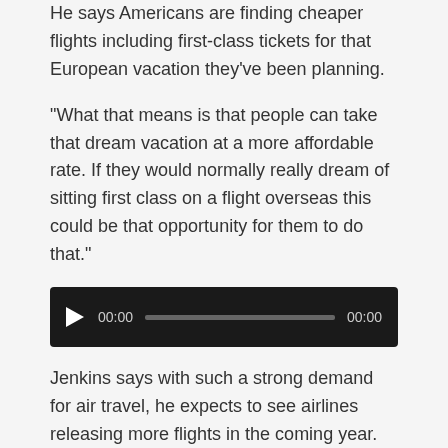He says Americans are finding cheaper flights including first-class tickets for that European vacation they've been planning.
“What that means is that people can take that dream vacation at a more affordable rate. If they would normally really dream of sitting first class on a flight overseas this could be that opportunity for them to do that.”
[Figure (other): Audio player with play button, timestamps 00:00 and 00:00, and a progress bar on a dark background.]
Jenkins says with such a strong demand for air travel, he expects to see airlines releasing more flights in the coming year. And he says that could drive down the price of flights to popular tourist destinations like Orlando even more.
He says even though cruise ships can't sail out of Port Canaveral yet, the demand for cruises out of Florida is